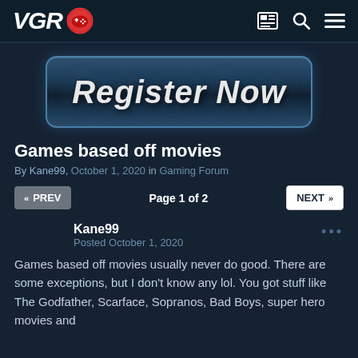VGR
[Figure (illustration): Register Now banner button with dark blue gradient background and bold italic white text]
Games based off movies
By Kane99, October 1, 2020 in Gaming Forum
Page 1 of 2
Kane99
Posted October 1, 2020
Games based off movies usually never do good. There are some exceptions, but I don't know any lol. You got stuff like The Godfather, Scarface, Sopranos, Bad Boys, super hero movies and